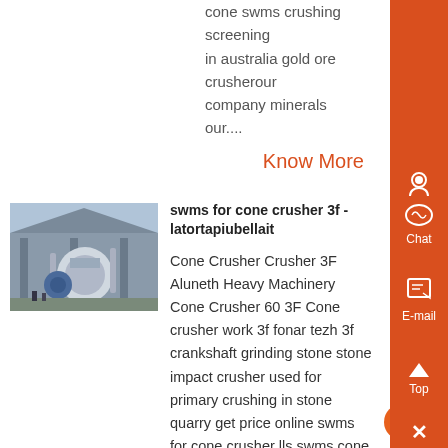cone swms crushing screening in australia gold ore crusherour company minerals our....
Know More
[Figure (photo): Industrial crusher/machinery inside a factory building]
swms for cone crusher 3f - latortapiubellait
Cone Crusher Crusher 3F Aluneth Heavy Machinery Cone Crusher 60 3F Cone crusher work 3f fonar tezh 3f crankshaft grinding stone stone impact crusher used for primary crushing in stone quarry get price online swms for cone crusher lls swms cone crusher grinding mill chinaswms for